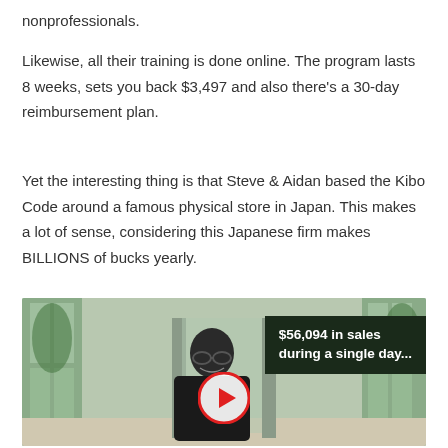nonprofessionals.
Likewise, all their training is done online. The program lasts 8 weeks, sets you back $3,497 and also there's a 30-day reimbursement plan.
Yet the interesting thing is that Steve & Aidan based the Kibo Code around a famous physical store in Japan. This makes a lot of sense, considering this Japanese firm makes BILLIONS of bucks yearly.
[Figure (photo): A man smiling in a building with glass doors/windows in the background. A dark overlay banner reads '$56,094 in sales during a single day...' with a red play button in the center.]